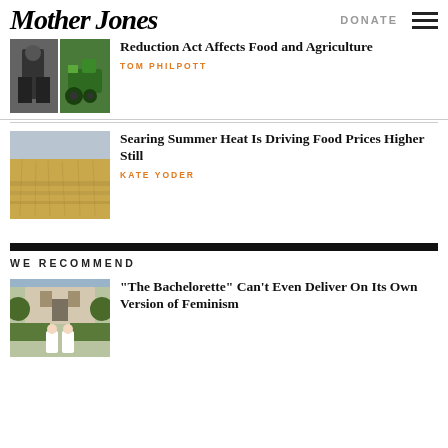Mother Jones
Reduction Act Affects Food and Agriculture
TOM PHILPOTT
Searing Summer Heat Is Driving Food Prices Higher Still
KATE YODER
WE RECOMMEND
“The Bachelorette” Can’t Even Deliver On Its Own Version of Feminism